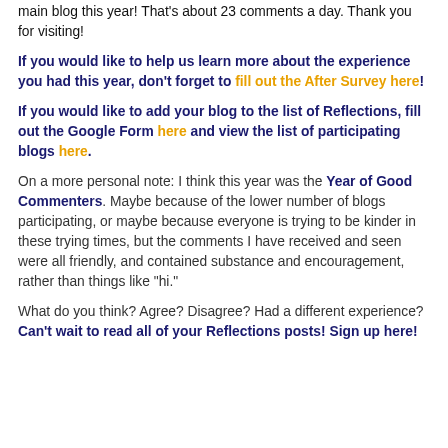main blog this year! That's about 23 comments a day. Thank you for visiting!
If you would like to help us learn more about the experience you had this year, don't forget to fill out the After Survey here!
If you would like to add your blog to the list of Reflections, fill out the Google Form here and view the list of participating blogs here.
On a more personal note: I think this year was the Year of Good Commenters. Maybe because of the lower number of blogs participating, or maybe because everyone is trying to be kinder in these trying times, but the comments I have received and seen were all friendly, and contained substance and encouragement, rather than things like "hi."
What do you think? Agree? Disagree? Had a different experience? Can't wait to read all of your Reflections posts! Sign up here!